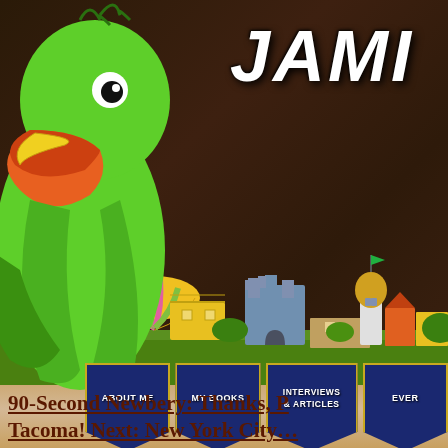[Figure (illustration): Website screenshot showing a green toucan/bird mascot on the left, the partial title 'JAMI' (cut off) in white distressed font top right on a dark brown background, an illustrated cartoon town/cityscape in the middle, navigation banners reading 'About Me', 'My Books', 'Interviews & Articles', 'Even...' (cut off) on a parchment background, and a text link at the bottom reading '90-Second Newbery: Thanks, P... Tacoma! Next: New York City...']
JAMI
About Me
My Books
Interviews & Articles
Ever
90-Second Newbery: Thanks, P... Tacoma! Next: New York City...